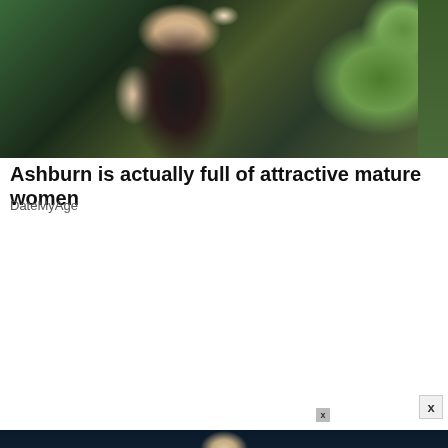[Figure (photo): Close-up photo of a woman with dark hair and light skin, wearing a white top, with green foliage background]
Ashburn is actually full of attractive mature women
DateMyAge
[Figure (photo): Young man with styled dark hair wearing a black leather jacket over a Superman t-shirt, standing in a dark blue-lit room]
[Figure (advertisement): Meet Airweave - Modular, Washable Mattress advertisement with SPY logo on yellow background]